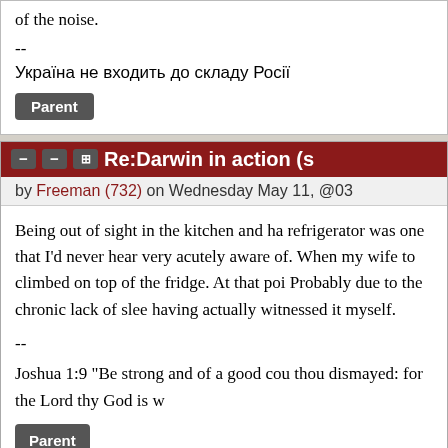of the noise.
--
Україна не входить до складу Росії
Parent
Re:Darwin in action (s
by Freeman (732) on Wednesday May 11, @03
Being out of sight in the kitchen and ha refrigerator was one that I'd never hear very acutely aware of. When my wife to climbed on top of the fridge. At that poi Probably due to the chronic lack of slee having actually witnessed it myself.
--
Joshua 1:9 "Be strong and of a good cou thou dismayed: for the Lord thy God is w
Parent
Re:Darwin in action (Score
by JoeMerchant (3937) on Wednesday May